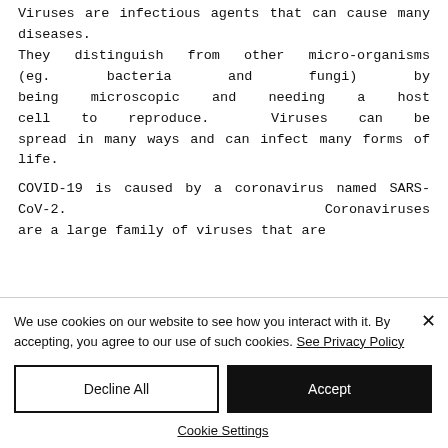Viruses are infectious agents that can cause many diseases. They distinguish from other micro-organisms (eg. bacteria and fungi) by being microscopic and needing a host cell to reproduce. Viruses can be spread in many ways and can infect many forms of life.
COVID-19 is caused by a coronavirus named SARS-CoV-2. Coronaviruses are a large family of viruses that are
We use cookies on our website to see how you interact with it. By accepting, you agree to our use of such cookies. See Privacy Policy